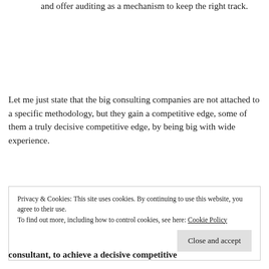and offer auditing as a mechanism to keep the right track.
Let me just state that the big consulting companies are not attached to a specific methodology, but they gain a competitive edge, some of them a truly decisive competitive edge, by being big with wide experience.
Privacy & Cookies: This site uses cookies. By continuing to use this website, you agree to their use.
To find out more, including how to control cookies, see here: Cookie Policy
Close and accept
consultant, to achieve a decisive competitive